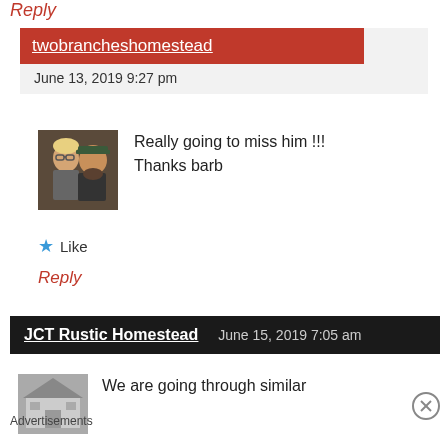Reply
twobrancheshomestead
June 13, 2019 9:27 pm
[Figure (photo): Profile photo showing a woman with glasses and a man with a beard]
Really going to miss him !!! Thanks barb
Like
Reply
JCT Rustic Homestead
June 15, 2019 7:05 am
[Figure (photo): Black and white photo of a barn]
We are going through similar
Advertisements